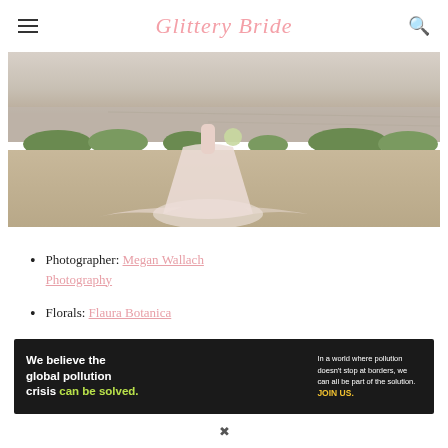Glittery Bride
[Figure (photo): Bride in a flowing pink/white tulle gown standing near a waterfront with green shrubbery and sandy ground in the background]
Photographer: Megan Wallach Photography
Florals: Flaura Botanica
Venue: The Greystone Estate
[Figure (infographic): Pure Earth advertisement banner: 'We believe the global pollution crisis can be solved. In a world where pollution doesn't stop at borders, we can all be part of the solution. JOIN US.' with Pure Earth logo]